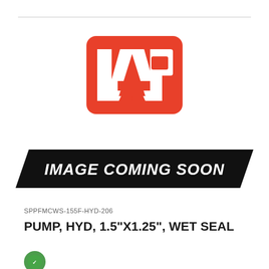[Figure (logo): IAP company logo: red rounded rectangle with white letters I, A, P formed by geometric shapes]
[Figure (other): Black parallelogram banner with italic bold white text reading IMAGE COMING SOON]
SPPFMCWS-155F-HYD-206
PUMP, HYD, 1.5"X1.25", WET SEAL
[Figure (logo): Green certification or compliance logo mark at bottom left]